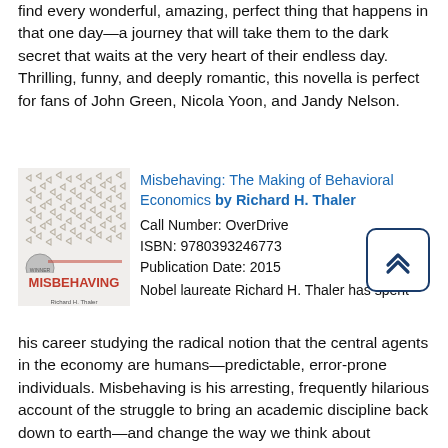find every wonderful, amazing, perfect thing that happens in that one day—a journey that will take them to the dark secret that waits at the very heart of their endless day. Thrilling, funny, and deeply romantic, this novella is perfect for fans of John Green, Nicola Yoon, and Jandy Nelson.
[Figure (illustration): Book cover for Misbehaving: The Making of Behavioral Economics by Richard H. Thaler, showing a pattern of arrow/bird symbols and the title MISBEHAVING in red at the bottom.]
Misbehaving: The Making of Behavioral Economics by Richard H. Thaler
Call Number: OverDrive
ISBN: 9780393246773
Publication Date: 2015
Nobel laureate Richard H. Thaler has spent his career studying the radical notion that the central agents in the economy are humans—predictable, error-prone individuals. Misbehaving is his arresting, frequently hilarious account of the struggle to bring an academic discipline back down to earth—and change the way we think about economics, ourselves, and our world. Traditional economics assumes rational actors. Early in his research, Thaler realized these Spock-like automatons were nothing like real people. Whether buying a clock radio, selling basketball